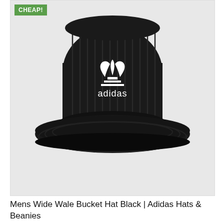[Figure (photo): Black Adidas corduroy wide-wale bucket hat with white Adidas trefoil logo and 'adidas' text embroidered on the front, photographed on a light grey background. A green 'CHEAP!' badge is overlaid in the top-left corner of the image.]
Mens Wide Wale Bucket Hat Black | Adidas Hats & Beanies